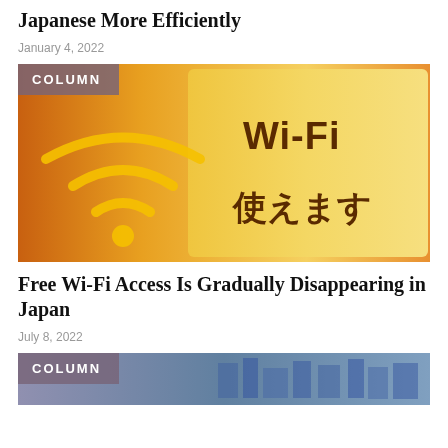Japanese More Efficiently
January 4, 2022
[Figure (photo): Wi-Fi sign in Japan showing Wi-Fi symbol and Japanese text 使えます (usemasu = available), with a COLUMN badge overlay. Warm orange/yellow background.]
Free Wi-Fi Access Is Gradually Disappearing in Japan
July 8, 2022
[Figure (photo): Partial image at bottom with COLUMN badge overlay, blue-toned city/street scene in Japan.]